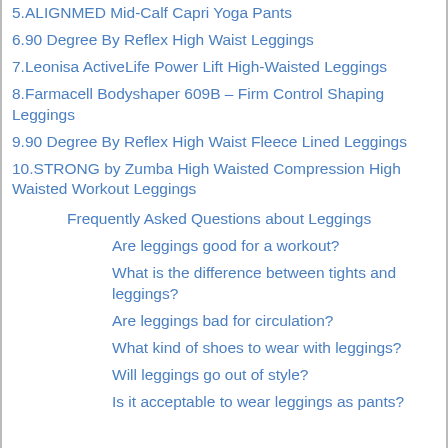5.ALIGNMED Mid-Calf Capri Yoga Pants
6.90 Degree By Reflex High Waist Leggings
7.Leonisa ActiveLife Power Lift High-Waisted Leggings
8.Farmacell Bodyshaper 609B – Firm Control Shaping Leggings
9.90 Degree By Reflex High Waist Fleece Lined Leggings
10.STRONG by Zumba High Waisted Compression High Waisted Workout Leggings
Frequently Asked Questions about Leggings
Are leggings good for a workout?
What is the difference between tights and leggings?
Are leggings bad for circulation?
What kind of shoes to wear with leggings?
Will leggings go out of style?
Is it acceptable to wear leggings as pants?